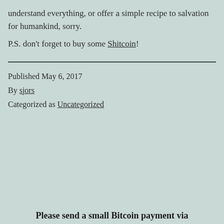understand everything, or offer a simple recipe to salvation for humankind, sorry.
P.S. don't forget to buy some Shitcoin!
Published May 6, 2017
By sjors
Categorized as Uncategorized
Please send a small Bitcoin payment via